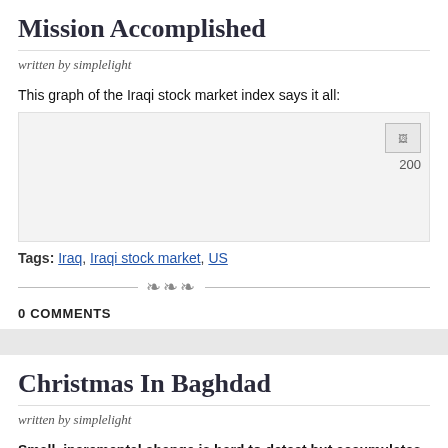Mission Accomplished
written by simplelight
This graph of the Iraqi stock market index says it all:
[Figure (other): Broken/partially loaded image of the Iraqi stock market index chart, with label '200' visible]
Tags: Iraq, Iraqi stock market, US
0 COMMENTS
Christmas In Baghdad
written by simplelight
Small, incremental change is hard to detect but accumulates over time:
From a distance, it looks like an apparition: a huge multi-colored h the Baghdad sky, bearing a large poster of Jesus Christ. Below it,